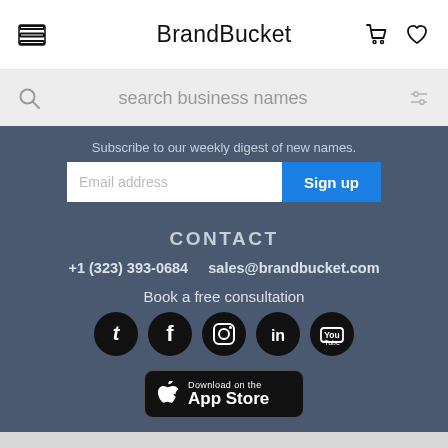BrandBucket
search business names
Subscribe to our weekly digest of new names.
Email address  Sign up
CONTACT
+1 (323) 393-0684    sales@brandbucket.com
Book a free consultation
[Figure (infographic): Social media icons: Twitter, Facebook, Instagram, LinkedIn, YouTube — all black circles with white icons]
[Figure (logo): Download on the App Store button with Apple logo]